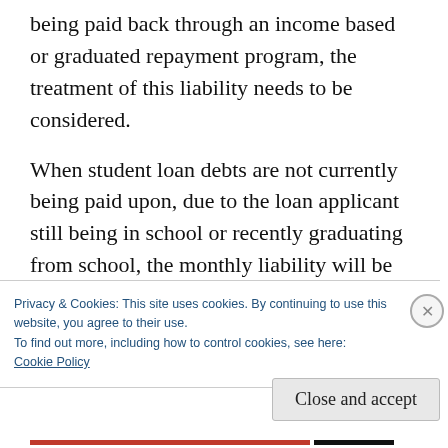being paid back through an income based or graduated repayment program, the treatment of this liability needs to be considered.
When student loan debts are not currently being paid upon, due to the loan applicant still being in school or recently graduating from school, the monthly liability will be calculated based on the lower of 1/2 of 1% of the outstanding loan balance or the monthly payment listed on the credit report.
Privacy & Cookies: This site uses cookies. By continuing to use this website, you agree to their use.
To find out more, including how to control cookies, see here:
Cookie Policy
Close and accept